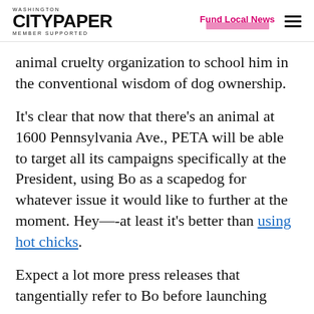WASHINGTON CITYPAPER MEMBER SUPPORTED | Fund Local News
animal cruelty organization to school him in the conventional wisdom of dog ownership.
It’s clear that now that there’s an animal at 1600 Pennsylvania Ave., PETA will be able to target all its campaigns specifically at the President, using Bo as a scapedog for whatever issue it would like to further at the moment. Hey—at least it’s better than using hot chicks.
Expect a lot more press releases that tangentially refer to Bo before launching